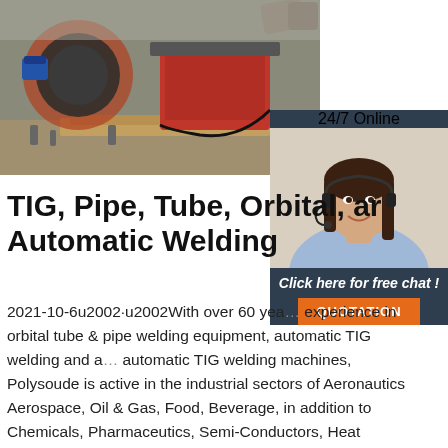[Figure (photo): Industrial welding machine / pipe welding equipment in a factory setting, showing a large orange pipe and machinery on a wooden pallet.]
[Figure (photo): Customer support agent – woman with headset smiling, with '24/7 Online' label, 'Click here for free chat!' text and 'QUOTATION' button overlay.]
TIG, Pipe, Tube, Orbital, and Automatic Welding
2021-10-6u2002·u2002With over 60 years experience in orbital tube & pipe welding equipment, automatic TIG welding and automatic TIG welding machines, Polysoude is active in the industrial sectors of Aeronautics Aerospace, Oil & Gas, Food, Beverage, in addition to Chemicals, Pharmaceutics, Semi-Conductors, Heat Exchangers and Power Generation, to name but a